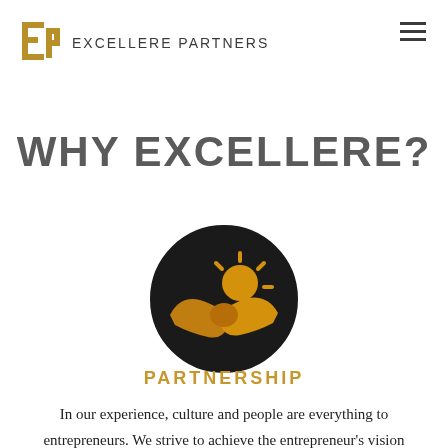Excellere Partners
WHY EXCELLERE?
[Figure (logo): Circular black icon with two hands shaking and a sun/star burst in orange/golden color, representing partnership]
PARTNERSHIP
In our experience, culture and people are everything to entrepreneurs. We strive to achieve the entrepreneur's vision and